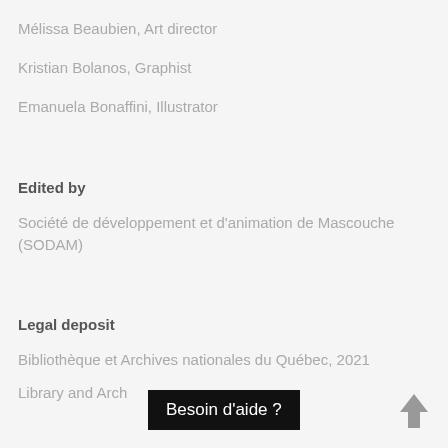Mélissa Beaubien, Art director
Kristian Bolanos, Graphist
Emanuela Bonaffini, Illustrator
Edited by
Société de développement et d'animation de Mascouche (SODAM)
Legal deposit
Bibliothèque et Archives nationales du Québec, 2021
Library and Arch
Besoin d'aide ?